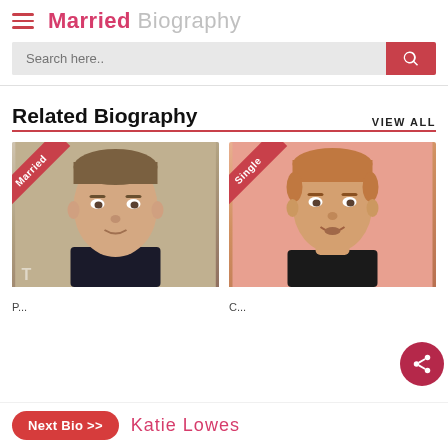Married Biography
Search here..
Related Biography
VIEW ALL
[Figure (photo): Photo of a young man labeled 'Married']
[Figure (photo): Photo of a young man labeled 'Single']
Next Bio >>  Katie Lowes